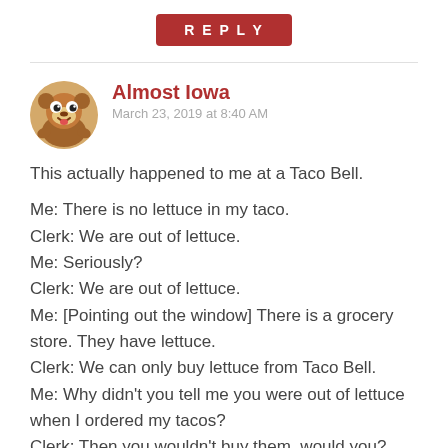[Figure (other): Red REPLY button]
Almost Iowa
March 23, 2019 at 8:40 AM
This actually happened to me at a Taco Bell.

Me: There is no lettuce in my taco.
Clerk: We are out of lettuce.
Me: Seriously?
Clerk: We are out of lettuce.
Me: [Pointing out the window] There is a grocery store. They have lettuce.
Clerk: We can only buy lettuce from Taco Bell.
Me: Why didn't you tell me you were out of lettuce when I ordered my tacos?
Clerk: Then you wouldn't buy them, would you?